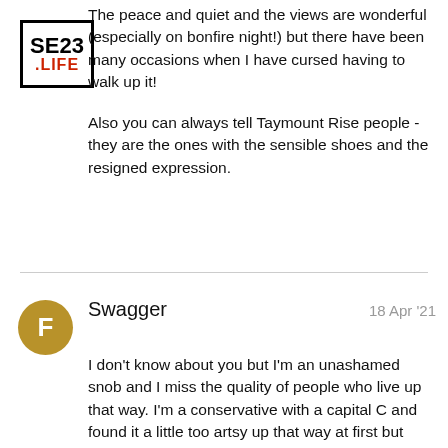SE23 .LIFE
The peace and quiet and the views are wonderful (especially on bonfire night!) but there have been many occasions when I have cursed having to walk up it!

Also you can always tell Taymount Rise people - they are the ones with the sensible shoes and the resigned expression.
Swagger   18 Apr '21
I don't know about you but I'm an unashamed snob and I miss the quality of people who live up that way. I'm a conservative with a capital C and found it a little too artsy up that way at first but soon grew fond of the relaxed community at Taymount Grange. I'd move back in a heartbeat if the price was right and I wasn't